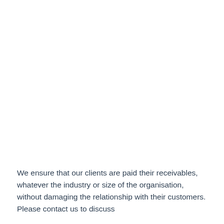We ensure that our clients are paid their receivables, whatever the industry or size of the organisation, without damaging the relationship with their customers. Please contact us to discuss